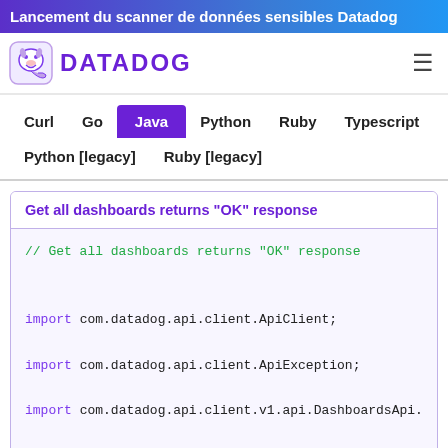Lancement du scanner de données sensibles Datadog
[Figure (logo): Datadog logo with dog mascot icon and DATADOG text in purple]
Curl
Go
Java (active tab)
Python
Ruby
Typescript
Python [legacy]
Ruby [legacy]
Get all dashboards returns "OK" response
// Get all dashboards returns "OK" response

import com.datadog.api.client.ApiClient;
import com.datadog.api.client.ApiException;
import com.datadog.api.client.v1.api.DashboardsApi.
import com.datadog.api.client.v1.api.DashboardsApi.
import com.datadog.api.client.v1.model.DashboardSum